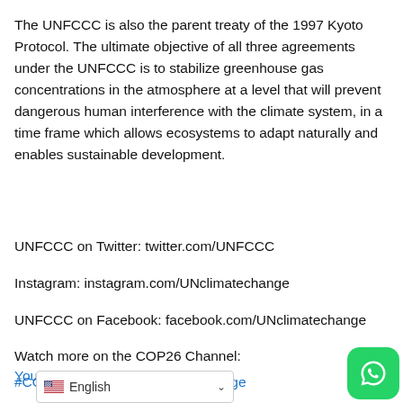The UNFCCC is also the parent treaty of the 1997 Kyoto Protocol. The ultimate objective of all three agreements under the UNFCCC is to stabilize greenhouse gas concentrations in the atmosphere at a level that will prevent dangerous human interference with the climate system, in a time frame which allows ecosystems to adapt naturally and enables sustainable development.
UNFCCC on Twitter: twitter.com/UNFCCC
Instagram: instagram.com/UNclimatechange
UNFCCC on Facebook: facebook.com/UNclimatechange
Watch more on the COP26 Channel: YouTube.com/COP26
#COP26 #UNFCCC #ClimateChange
[Figure (illustration): WhatsApp contact button (green rounded square with white phone/chat icon)]
[Figure (screenshot): Language selector bar showing English with a US flag and dropdown arrow]